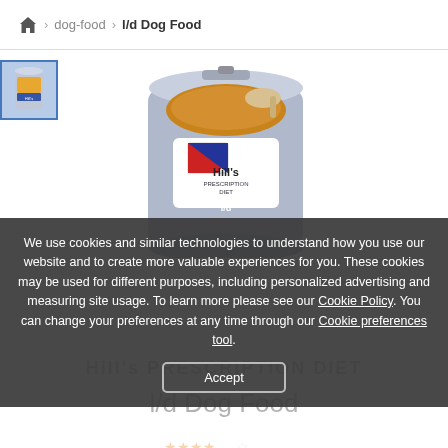🏠 > dog-food > l/d Dog Food
[Figure (photo): Hill's Prescription Diet l/d Dog Food can with food visible on top, shown as main product image. Thumbnail of the same can shown top-left.]
We use cookies and similar technologies to understand how you use our website and to create more valuable experiences for you. These cookies may be used for different purposes, including personalized advertising and measuring site usage. To learn more please see our Cookie Policy. You can change your preferences at any time through our Cookie preferences tool.
l/d Dog Food